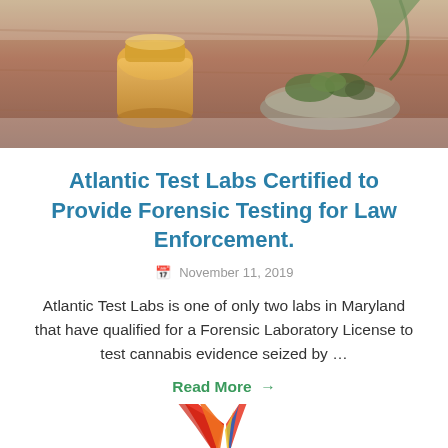[Figure (photo): Photo of cannabis/hemp products on a wooden surface — an amber jar and herbs/plant material on a plate, blurred background]
Atlantic Test Labs Certified to Provide Forensic Testing for Law Enforcement.
November 11, 2019
Atlantic Test Labs is one of only two labs in Maryland that have qualified for a Forensic Laboratory License to test cannabis evidence seized by …
Read More →
[Figure (illustration): Illustration of a stylized Native American profile silhouette with colorful feathers (red, orange, blue, yellow) — appears to be a logo or mascot]